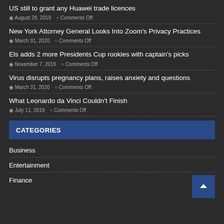US still to grant any Huawei trade licences
August 28, 2019  Comments Off
New York Attorney General Looks Into Zoom's Privacy Practices
March 31, 2020  Comments Off
Els adds 2 more Presidents Cup rookies with captain's picks
November 7, 2019  Comments Off
Virus disrupts pregnancy plans, raises anxiety and questions
March 31, 2020  Comments Off
What Leonardo da Vinci Couldn't Finish
July 11, 2019  Comments Off
CATEGORIES
Business
Entertainment
Finance